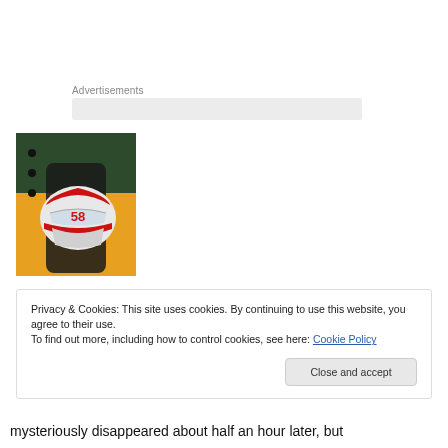Advertisements
[Figure (photo): A racing helmet numbered 58 in white and red, with a Bell logo, displayed against a dark and orange background]
Privacy & Cookies: This site uses cookies. By continuing to use this website, you agree to their use.
To find out more, including how to control cookies, see here: Cookie Policy
mysteriously disappeared about half an hour later, but